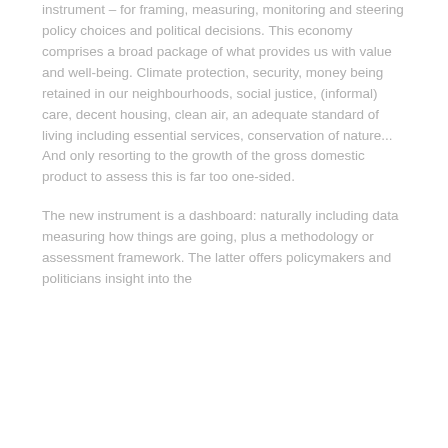instrument – for framing, measuring, monitoring and steering policy choices and political decisions. This economy comprises a broad package of what provides us with value and well-being. Climate protection, security, money being retained in our neighbourhoods, social justice, (informal) care, decent housing, clean air, an adequate standard of living including essential services, conservation of nature... And only resorting to the growth of the gross domestic product to assess this is far too one-sided.
The new instrument is a dashboard: naturally including data measuring how things are going, plus a methodology or assessment framework. The latter offers policymakers and politicians insight into the